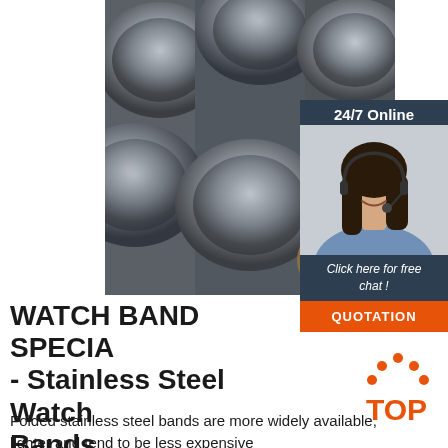[Figure (photo): Close-up photo of bundled stainless steel hollow pipes/tubes viewed from the end, showing circular cross-sections in grey metallic color]
[Figure (photo): Sidebar with dark navy background showing '24/7 Online' text, a photo of a smiling female customer service agent with headset, 'Click here for free chat!' italic text, and an orange QUOTATION button]
WATCH BAND SPECIA - Stainless Steel Watch Bands ...
[Figure (logo): Orange TOP logo with dot pattern forming an arch above the letters TOP in orange]
Folded stainless steel bands are more widely available, lighter and tend to be less expensive